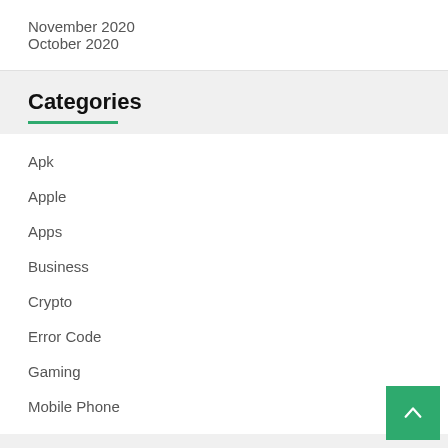November 2020
October 2020
Categories
Apk
Apple
Apps
Business
Crypto
Error Code
Gaming
Mobile Phone